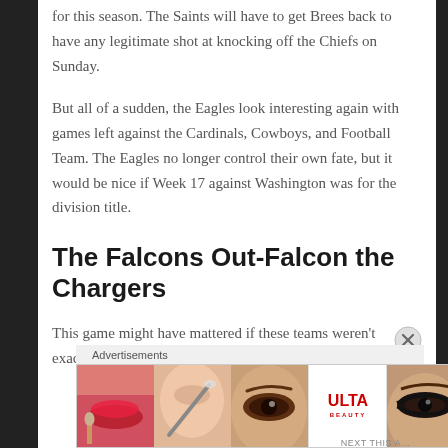for this season. The Saints will have to get Brees back to have any legitimate shot at knocking off the Chiefs on Sunday.
But all of a sudden, the Eagles look interesting again with games left against the Cardinals, Cowboys, and Football Team. The Eagles no longer control their own fate, but it would be nice if Week 17 against Washington was for the division title.
The Falcons Out-Falcon the Chargers
This game might have mattered if these teams weren't exactly who we thought they are: epic chokers.
[Figure (other): Advertisement banner showing Ulta Beauty cosmetics advertisement with makeup imagery and SHOP NOW call to action]